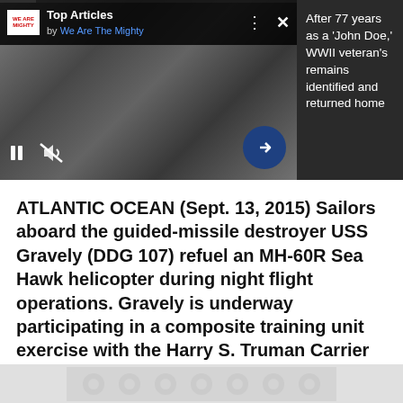[Figure (screenshot): Video player showing black and white war footage with Top Articles overlay from We Are The Mighty]
After 77 years as a 'John Doe,' WWII veteran's remains identified and returned home
ATLANTIC OCEAN (Sept. 13, 2015) Sailors aboard the guided-missile destroyer USS Gravely (DDG 107) refuel an MH-60R Sea Hawk helicopter during night flight operations. Gravely is underway participating in a composite training unit exercise with the Harry S. Truman Carrier Strike Group.
[Figure (other): Advertisement placeholder area]